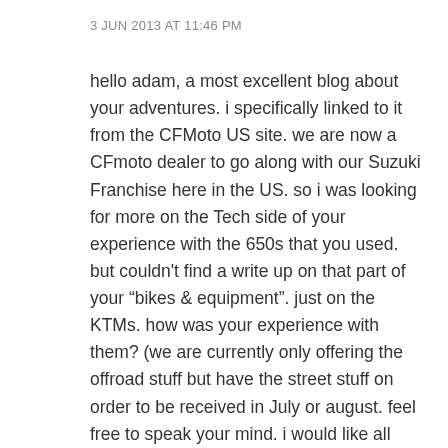3 JUN 2013 AT 11:46 PM
hello adam, a most excellent blog about your adventures. i specifically linked to it from the CFMoto US site. we are now a CFmoto dealer to go along with our Suzuki Franchise here in the US. so i was looking for more on the Tech side of your experience with the 650s that you used. but couldn’t find a write up on that part of your “bikes & equipment”. just on the KTMs. how was your experience with them? (we are currently only offering the offroad stuff but have the street stuff on order to be received in July or august. feel free to speak your mind. i would like all criticisms or accolades on the product. we are excited to get the NK and TK here. thanks much and ride safe!